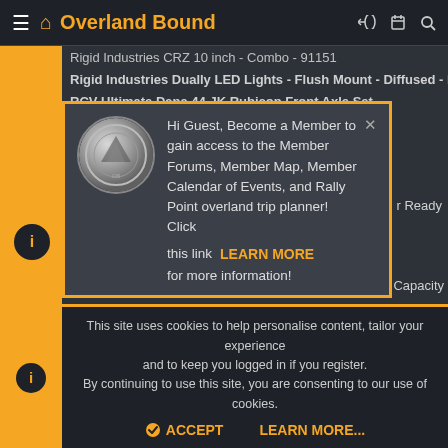Overland Bound
Rigid Industries CRZ 10 inch - Combo - 91151
Rigid Industries Dually LED Lights - Flush Mount - Diffused - Pair
RCV Ultimate Dana 44 JK Rubicon Front Axle Set
Reid JK Steering Knuckle Left Side
Reid JK Steering Knuckle Right Side
[Figure (screenshot): Membership popup modal: coin logo, text 'Hi Guest, Become a Member to gain access to the Member Forums, Member Map, Member Calendar of Events, and Rally Point overland trip planner! Click this link LEARN MORE for more information!' with close X button]
witch Capacity
Rigid Industries E2 40" - Combo - 14231
This site uses cookies to help personalise content, tailor your experience and to keep you logged in if you register. By continuing to use this site, you are consenting to our use of cookies.
ACCEPT   LEARN MORE...